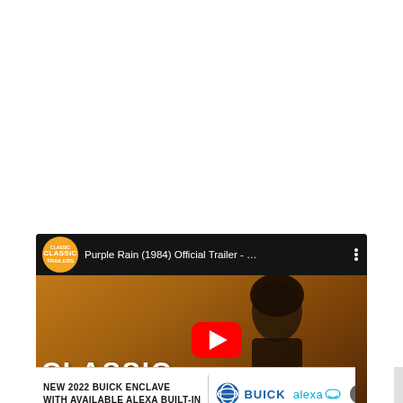[Figure (screenshot): YouTube video embed showing 'Purple Rain (1984) Official Trailer - ...' with Classic Trailers badge, thumbnail of a person against golden background with CLASSIC text, and red YouTube play button overlay]
[Figure (screenshot): Advertisement banner: 'NEW 2022 BUICK ENCLAVE WITH AVAILABLE ALEXA BUILT-IN' with Buick logo and Alexa logo, and a close X button]